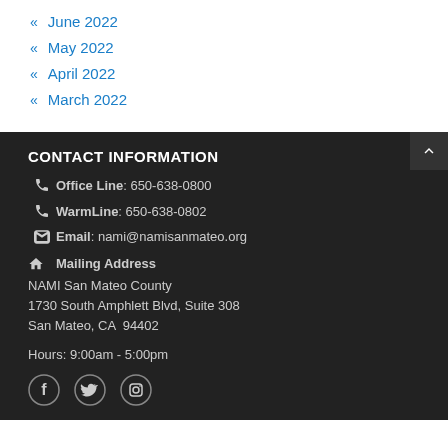« June 2022
« May 2022
« April 2022
« March 2022
CONTACT INFORMATION
Office Line: 650-638-0800
WarmLine: 650-638-0802
Email: nami@namisanmateo.org
Mailing Address
NAMI San Mateo County
1730 South Amphlett Blvd, Suite 308
San Mateo, CA  94402
Hours: 9:00am - 5:00pm